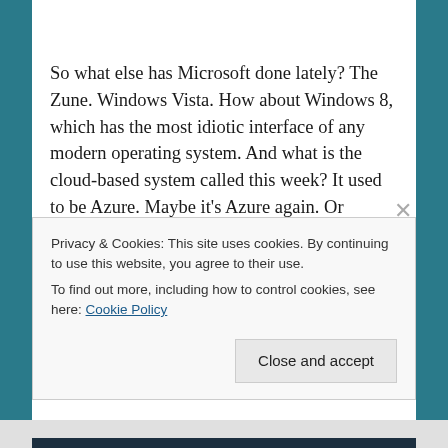So what else has Microsoft done lately? The Zune. Windows Vista. How about Windows 8, which has the most idiotic interface of any modern operating system. And what is the cloud-based system called this week? It used to be Azure. Maybe it's Azure again. Or maybe…
The problem is Bill Gates retired. Yes, Bill Gates was a ruthless businessman who thought nothing of riding roughshod over competitors. All the
Privacy & Cookies: This site uses cookies. By continuing to use this website, you agree to their use.
To find out more, including how to control cookies, see here: Cookie Policy
Close and accept